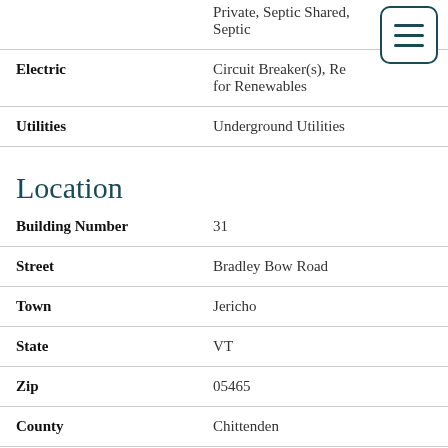| Field | Value |
| --- | --- |
|  | Private, Septic Shared, Septic |
| Electric | Circuit Breaker(s), Ready for Renewables |
| Utilities | Underground Utilities |
Location
| Field | Value |
| --- | --- |
| Building Number | 31 |
| Street | Bradley Bow Road |
| Town | Jericho |
| State | VT |
| Zip | 05465 |
| County | Chittenden |
| Subdivision | Bradley Bow |